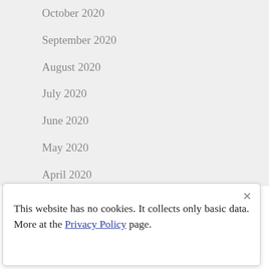October 2020
September 2020
August 2020
July 2020
June 2020
May 2020
April 2020
March 2020
This website has no cookies. It collects only basic data. More at the Privacy Policy page.